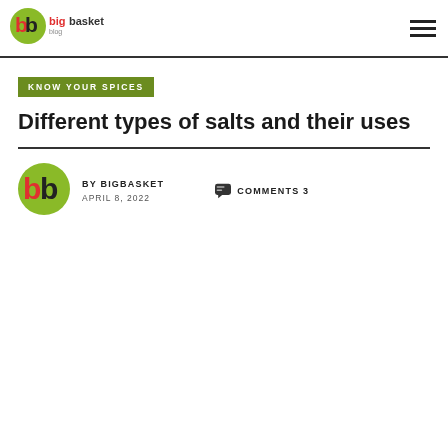bigbasket blog
KNOW YOUR SPICES
Different types of salts and their uses
BY BIGBASKET  APRIL 8, 2022  COMMENTS 3